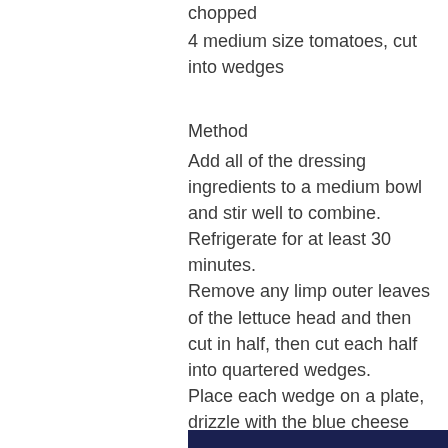chopped
4 medium size tomatoes, cut into wedges
Method
Add all of the dressing ingredients to a medium bowl and stir well to combine. Refrigerate for at least 30 minutes.
Remove any limp outer leaves of the lettuce head and then cut in half, then cut each half into quartered wedges.
Place each wedge on a plate, drizzle with the blue cheese dressing, top with a few crumbles of bacon, a sprinkling of chives and reserved blue cheese chunks and add a few wedges of tomato on the side. Give one more sprinkle of freshly ground black pepper and serve.